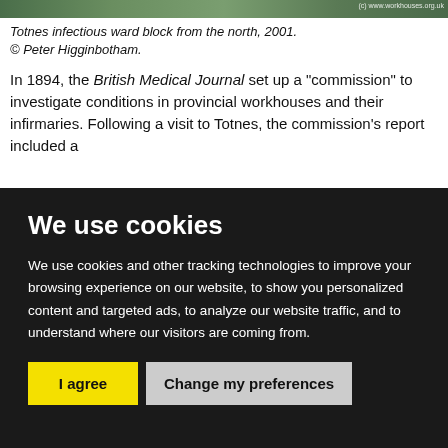[Figure (photo): Photo strip of Totnes infectious ward block from the north, 2001. Watermark: (c) www.workhouses.org.uk]
Totnes infectious ward block from the north, 2001.
© Peter Higginbotham.
In 1894, the British Medical Journal set up a "commission" to investigate conditions in provincial workhouses and their infirmaries. Following a visit to Totnes, the commission's report included a
We use cookies
We use cookies and other tracking technologies to improve your browsing experience on our website, to show you personalized content and targeted ads, to analyze our website traffic, and to understand where our visitors are coming from.
I agree | Change my preferences